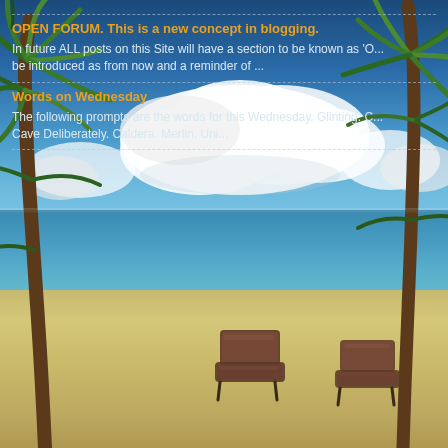[Figure (illustration): Tropical beach scene with blue sky, white clouds, turquoise ocean, sandy beach, palm trees on left and right sides, and two beach lounge chairs in the foreground center.]
OPEN FORUM. This is a new concept in blogging.
In future ALL posts on this Site will have a section to be known as 'O... be introduced as from now and a reminder of ...
Words on Wednesday
The following prompts are the words for this Wednesday. Glinting. C... Cave Deliberately. Caldera. Merlin. Uni...